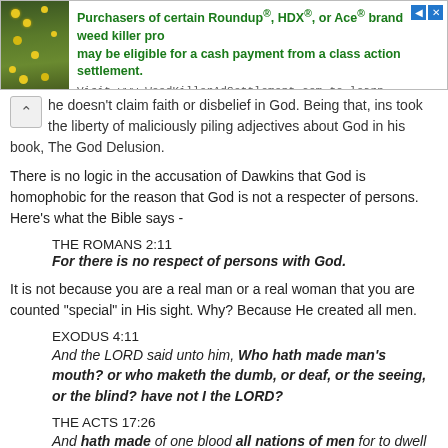[Figure (other): Advertisement banner: Purchasers of certain Roundup®, HDX®, or Ace® brand weed killer products may be eligible for a cash payment from a class action settlement. Visit www.WeedKillerAdSettlement.com to learn more. With a nature/flower image on the left.]
he doesn't claim faith or disbelief in God. Being that, ins took the liberty of maliciously piling adjectives about God in his book, The God Delusion.
There is no logic in the accusation of Dawkins that God is homophobic for the reason that God is not a respecter of persons. Here's what the Bible says -
THE ROMANS 2:11
For there is no respect of persons with God.
It is not because you are a real man or a real woman that you are counted "special" in His sight. Why? Because He created all men.
EXODUS 4:11
And the LORD said unto him, Who hath made man's mouth? or who maketh the dumb, or deaf, or the seeing, or the blind? have not I the LORD?
THE ACTS 17:26
And hath made of one blood all nations of men for to dwell on all the face of the earth, and hath determined the times before appointed, and the bounds of their habitation;
I CHRONICLES 29:11
Thine, O LORD, is the greatness, and the power, and